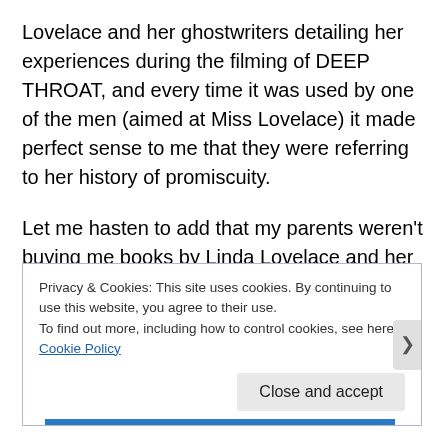Lovelace and her ghostwriters detailing her experiences during the filming of DEEP THROAT, and every time it was used by one of the men (aimed at Miss Lovelace) it made perfect sense to me that they were referring to her history of promiscuity.
Let me hasten to add that my parents weren't buying me books by Linda Lovelace and her ghostwriters. I had to steal them myself.
You get to seventh grade, though, your buddies are
Privacy & Cookies: This site uses cookies. By continuing to use this website, you agree to their use.
To find out more, including how to control cookies, see here: Cookie Policy